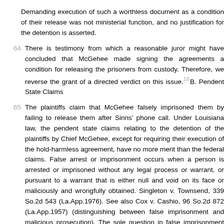Demanding execution of such a worthless document as a condition of their release was not ministerial function, and no justification for the detention is asserted.
64  There is testimony from which a reasonable juror might have concluded that McGehee made signing the agreements a condition for releasing the prisoners from custody. Therefore, we reverse the grant of a directed verdict on this issue.18 B. Pendent State Claims
65  The plaintiffs claim that McGehee falsely imprisoned them by failing to release them after Sinns’ phone call. Under Louisiana law, the pendent state claims relating to the detention of the plaintiffs by Chief McGehee, except for requiring their execution of the hold-harmless agreement, have no more merit than the federal claims. False arrest or imprisonment occurs when a person is arrested or imprisoned without any legal process or warrant, or pursuant to a warrant that is either null and void on its face or maliciously and wrongfully obtained. Singleton v. Townsend, 339 So.2d 543 (La.App.1976). See also Cox v. Cashio, 96 So.2d 872 (La.App.1957) (distinguishing between false imprisonment and malicious prosecution). The sole question in false imprisonment cases is whether the police officer acted without color of legal authority. Kyle